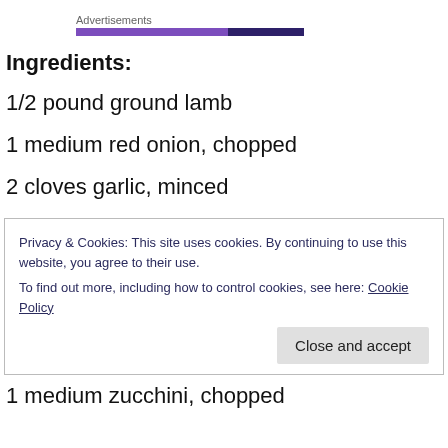Advertisements
Ingredients:
1/2 pound ground lamb
1 medium red onion, chopped
2 cloves garlic, minced
Privacy & Cookies: This site uses cookies. By continuing to use this website, you agree to their use.
To find out more, including how to control cookies, see here: Cookie Policy
1 medium zucchini, chopped